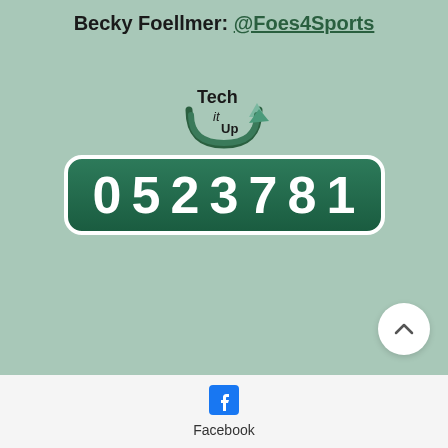Becky Foellmer: @Foes4Sports
[Figure (logo): Tech It Up logo with arrow graphic]
[Figure (other): Odometer-style counter showing 0523781 on dark green background with white rounded border]
[Figure (other): Scroll-to-top button, white circle with upward chevron arrow]
[Figure (logo): Facebook icon (blue square with white f)]
Facebook